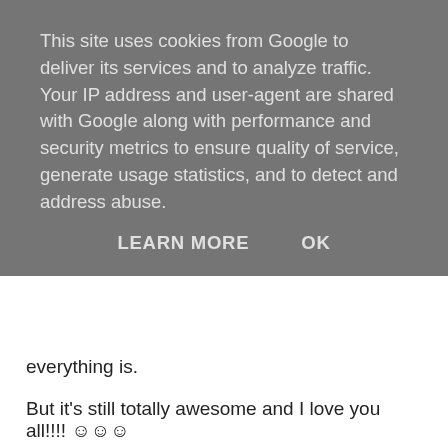This site uses cookies from Google to deliver its services and to analyze traffic. Your IP address and user-agent are shared with Google along with performance and security metrics to ensure quality of service, generate usage statistics, and to detect and address abuse.
LEARN MORE    OK
everything is.
But it's still totally awesome and I love you all!!!! ☺☺☺
| Pageviews all time history | 300,714 |
[Figure (other): Dropdown chevron button (accordion collapse/expand control)]
[Figure (other): Advertisement banner: Virginia Tire & Auto of Ashburn Farms - Save Up To $110 On New Tires, with tire & auto circular logo and navigation direction sign icon]